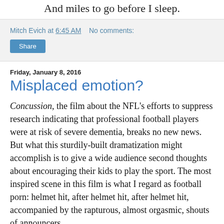And miles to go before I sleep.
Mitch Evich at 6:45 AM   No comments:
Share
Friday, January 8, 2016
Misplaced emotion?
Concussion, the film about the NFL’s efforts to suppress research indicating that professional football players were at risk of severe dementia, breaks no new news. But what this sturdily-built dramatization might accomplish is to give a wide audience second thoughts about encouraging their kids to play the sport. The most inspired scene in this film is what I regard as football porn: helmet hit, after helmet hit, after helmet hit, accompanied by the rapturous, almost orgasmic, shouts of announcers.